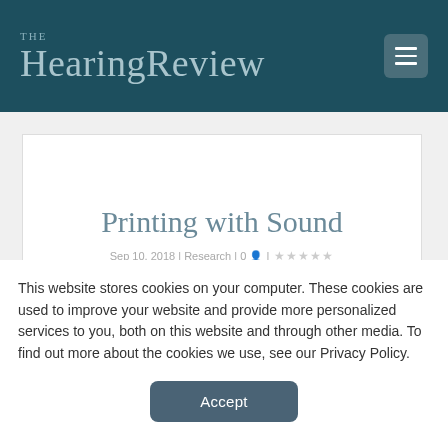The HearingReview
Printing with Sound
Sep 10, 2018 | Research | 0 | ★★★★★
This website stores cookies on your computer. These cookies are used to improve your website and provide more personalized services to you, both on this website and through other media. To find out more about the cookies we use, see our Privacy Policy.
Accept